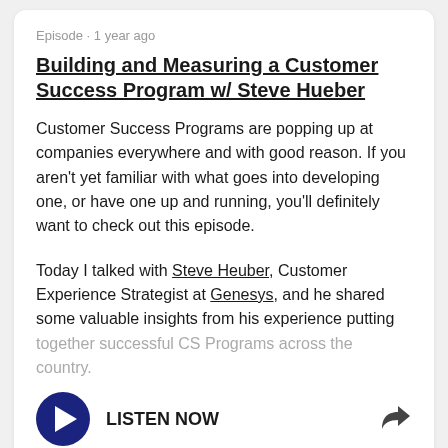Episode · 1 year ago
Building and Measuring a Customer Success Program w/ Steve Hueber
Customer Success Programs are popping up at companies everywhere and with good reason. If you aren't yet familiar with what goes into developing one, or have one up and running, you'll definitely want to check out this episode.
Today I talked with Steve Heuber, Customer Experience Strategist at Genesys, and he shared some valuable insights from his experience putting together successful CS Programs across the country.
LISTEN NOW
Episode · 1 year ago